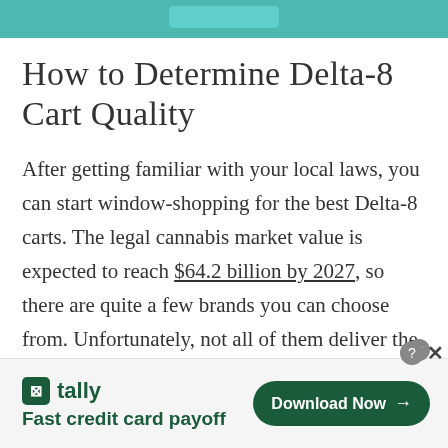[Figure (other): Teal/turquoise banner at top of page with a lighter teal button shape in the center]
How to Determine Delta-8 Cart Quality
After getting familiar with your local laws, you can start window-shopping for the best Delta-8 carts. The legal cannabis market value is expected to reach $64.2 billion by 2027, so there are quite a few brands you can choose from. Unfortunately, not all of them deliver the
[Figure (screenshot): Advertisement banner for Tally app — 'Fast credit card payoff' with a 'Download Now' button in dark green, and close/help icons in the upper right corner]